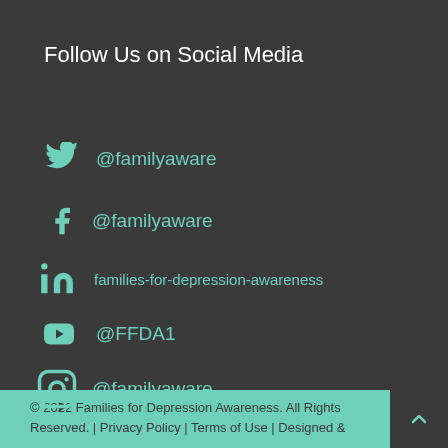Follow Us on Social Media
@familyaware (Twitter)
@familyaware (Facebook)
families-for-depression-awareness (LinkedIn)
@FFDA1 (YouTube)
@familyaware (Instagram)
© 2022 Families for Depression Awareness. All Rights Reserved. | Privacy Policy | Terms of Use | Designed &